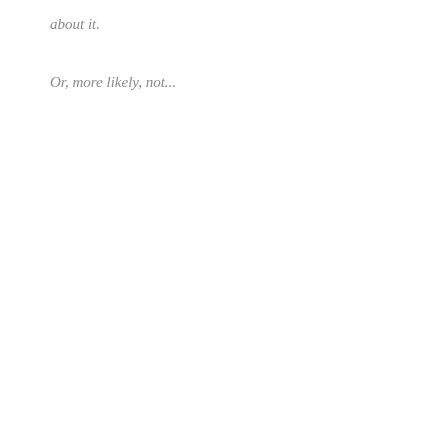about it.
Or, more likely, not...